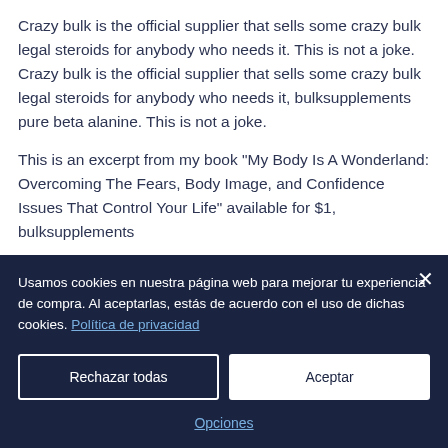Crazy bulk is the official supplier that sells some crazy bulk legal steroids for anybody who needs it. This is not a joke. Crazy bulk is the official supplier that sells some crazy bulk legal steroids for anybody who needs it, bulksupplements pure beta alanine. This is not a joke.
This is an excerpt from my book "My Body Is A Wonderland: Overcoming The Fears, Body Image, and Confidence Issues That Control Your Life" available for $1, bulksupplements pure beta alanine.
Usamos cookies en nuestra página web para mejorar tu experiencia de compra. Al aceptarlas, estás de acuerdo con el uso de dichas cookies. Política de privacidad
Rechazar todas
Aceptar
Opciones